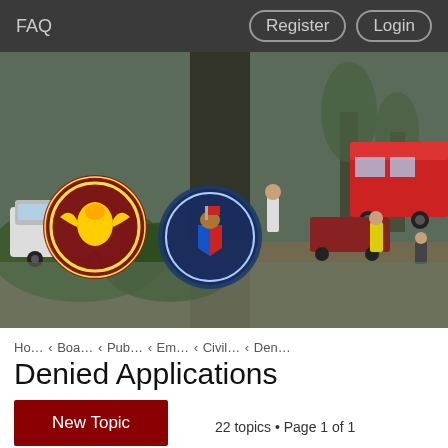FAQ   Register   Login
[Figure (photo): Scene showing fire trucks, emergency responders, and two organization seals/logos overlaid on the left side. Background shows a road incident with a red fire truck and people in high-visibility gear near trees.]
Ho… ‹ Boa… ‹ Pub… ‹ Em… ‹ Civil… ‹ Den…
Denied Applications
New Topic
22 topics • Page 1 of 1